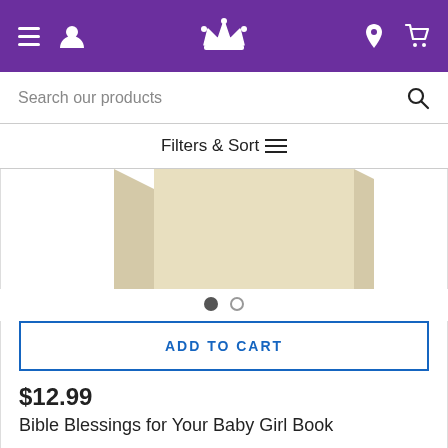Navigation bar with menu, profile, crown logo, location, and cart icons
Search our products
Filters & Sort
[Figure (photo): Partial view of a cream/ivory colored book cover (Bible Blessings for Your Baby Girl Book), showing just the top and side binding against a white background]
ADD TO CART
$12.99
Bible Blessings for Your Baby Girl Book
★★★★★ (36)